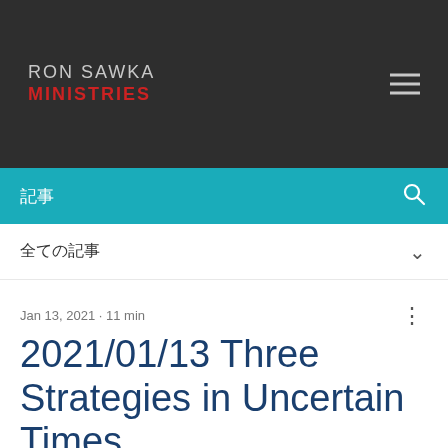RON SAWKA MINISTRIES
記事
全ての記事
Jan 13, 2021 · 11 min
2021/01/13 Three Strategies in Uncertain Times
Updated: Jan 19, 2021